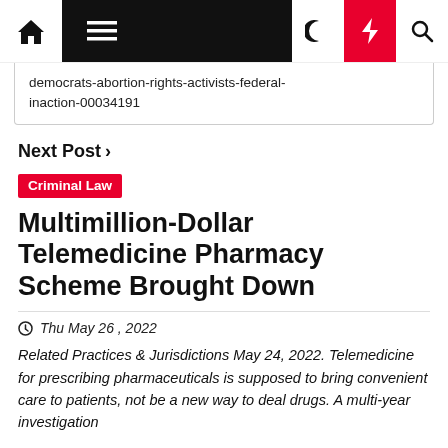[Figure (screenshot): Website navigation bar with home icon, hamburger menu (black background), moon icon, red lightning bolt icon, and search icon]
democrats-abortion-rights-activists-federal-inaction-00034191
Next Post >
Criminal Law
Multimillion-Dollar Telemedicine Pharmacy Scheme Brought Down
Thu May 26 , 2022
Related Practices & Jurisdictions May 24, 2022. Telemedicine for prescribing pharmaceuticals is supposed to bring convenient care to patients, not be a new way to deal drugs. A multi-year investigation